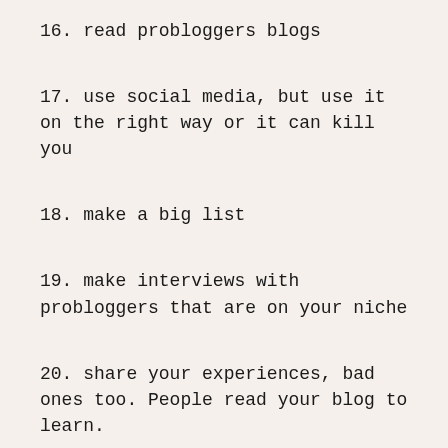16. read probloggers blogs
17. use social media, but use it on the right way or it can kill you
18. make a big list
19. make interviews with probloggers that are on your niche
20. share your experiences, bad ones too. People read your blog to learn.
21. go to famous events when you can (world blog